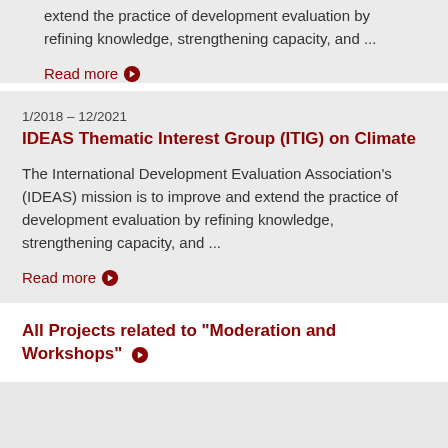extend the practice of development evaluation by refining knowledge, strengthening capacity, and ...
Read more
1/2018 – 12/2021
IDEAS Thematic Interest Group (ITIG) on Climate
The International Development Evaluation Association's (IDEAS) mission is to improve and extend the practice of development evaluation by refining knowledge, strengthening capacity, and ...
Read more
All Projects related to "Moderation and Workshops"